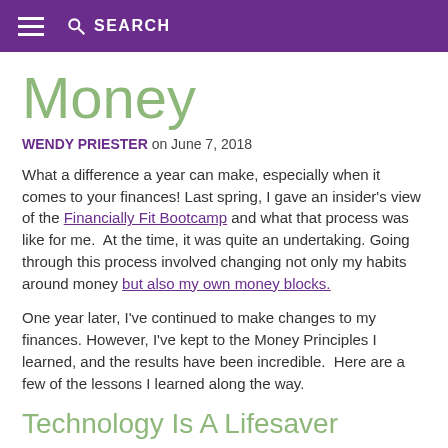≡  🔍 SEARCH
Money
WENDY PRIESTER on June 7, 2018
What a difference a year can make, especially when it comes to your finances! Last spring, I gave an insider's view of the Financially Fit Bootcamp and what that process was like for me.  At the time, it was quite an undertaking. Going through this process involved changing not only my habits around money but also my own money blocks.
One year later, I've continued to make changes to my finances. However, I've kept to the Money Principles I learned, and the results have been incredible.  Here are a few of the lessons I learned along the way.
Technology Is A Lifesaver
[Figure (photo): Partial view of a photo, appears to show green foliage/plants]